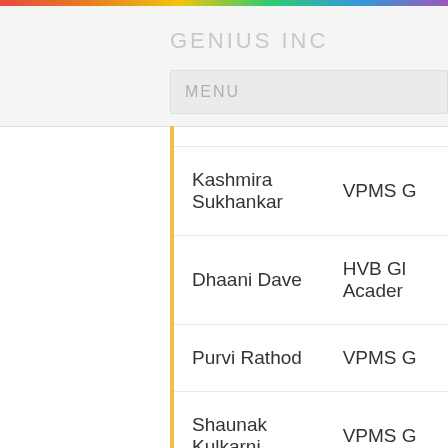GENIUS INC
MENU
| Name | School |
| --- | --- |
| Kashmira Sukhankar | VPMS G |
| Dhaani Dave | HVB Gl Acader |
| Purvi Rathod | VPMS G |
| Shaunak Kulkarni | VPMS G |
| Ajinkya Dhumal | VPMS G |